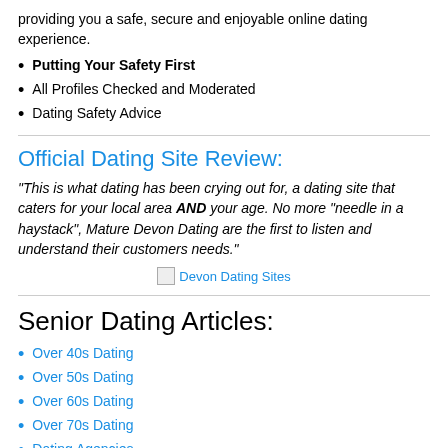providing you a safe, secure and enjoyable online dating experience.
Putting Your Safety First
All Profiles Checked and Moderated
Dating Safety Advice
Official Dating Site Review:
"This is what dating has been crying out for, a dating site that caters for your local area AND your age. No more "needle in a haystack", Mature Devon Dating are the first to listen and understand their customers needs."
[Figure (illustration): Broken image placeholder link labeled 'Devon Dating Sites']
Senior Dating Articles:
Over 40s Dating
Over 50s Dating
Over 60s Dating
Over 70s Dating
Dating Agencies